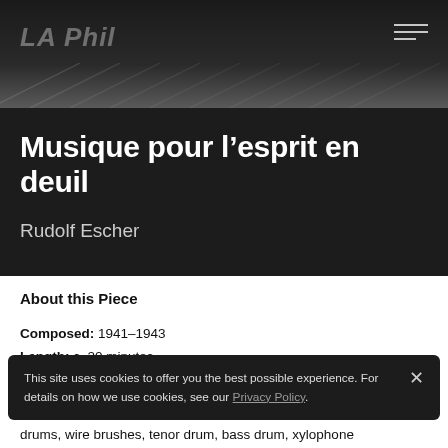LA Phil
Musique pour l’esprit en deuil
Rudolf Escher
About this Piece
Composed: 1941–1943
Length: c. 20 minutes
Orchestration: piccolo, 3 flutes, 3 oboes, English horn, 4
This site uses cookies to offer you the best possible experience. For details on how we use cookies, see our Privacy Policy.
drums, wire brushes, tenor drum, bass drum, xylophone